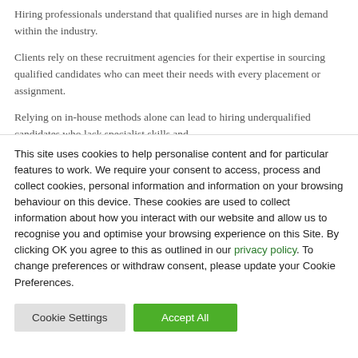Hiring professionals understand that qualified nurses are in high demand within the industry.
Clients rely on these recruitment agencies for their expertise in sourcing qualified candidates who can meet their needs with every placement or assignment.
Relying on in-house methods alone can lead to hiring underqualified candidates who lack specialist skills and
This site uses cookies to help personalise content and for particular features to work. We require your consent to access, process and collect cookies, personal information and information on your browsing behaviour on this device. These cookies are used to collect information about how you interact with our website and allow us to recognise you and optimise your browsing experience on this Site. By clicking OK you agree to this as outlined in our privacy policy. To change preferences or withdraw consent, please update your Cookie Preferences.